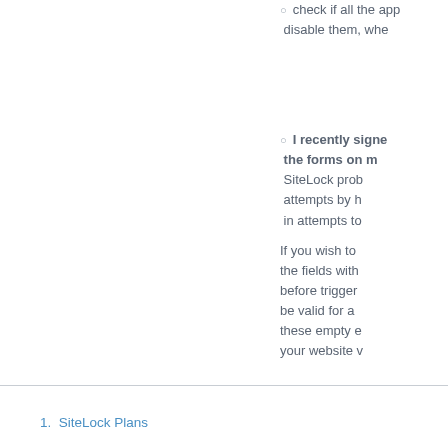check if all the app... disable them, whe...
I recently signe... the forms on m... SiteLock prob... attempts by h... in attempts to...
If you wish to... the fields with... before trigger... be valid for a... these empty e... your website v...
1.  SiteLock Plans